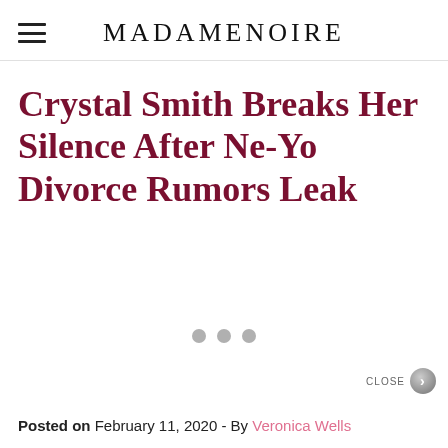MADAMENOIRE
Crystal Smith Breaks Her Silence After Ne-Yo Divorce Rumors Leak
Posted on February 11, 2020 - By Veronica Wells